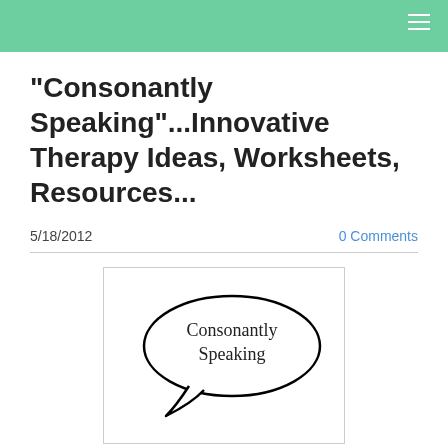"Consonantly Speaking"...Innovative Therapy Ideas, Worksheets, Resources...
5/18/2012
0 Comments
[Figure (illustration): Speech bubble illustration with the text 'Consonantly Speaking' inside an oval speech bubble with a small tail pointing down-left, drawn in black outline on white background.]